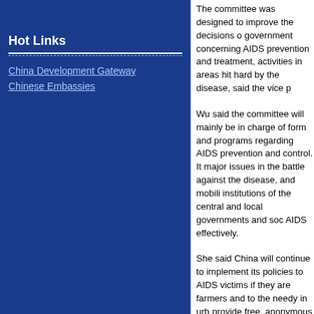Hot Links
China Development Gateway
Chinese Embassies
The committee was designed to improve the decisions of the government concerning AIDS prevention and treatment, activities in areas hit hard by the disease, said the vice p...
Wu said the committee will mainly be in charge of form... and programs regarding AIDS prevention and control. It... major issues in the battle against the disease, and mobili... institutions of the central and local governments and soc... AIDS effectively.
She said China will continue to implement its policies to... AIDS victims if they are farmers and to the needy in urb... provide free, anonymous blood tests for people in areas ... to have accurate information on the epidemic.
The country will continue to offer free education to orph... died of AIDS. Costs will be covered by local governmer... premier.
She said the government will offer free AIDS consultatio... treatment to pregnant women in state-designated areas to... transmission from mothers to their babies, and provide a... AIDS patients, while helping those capable of work to f...
Wu vowed to expand the publicity campaign to increase... AIDS prevention and control, improve people's understa... and fight prejudice against AIDS patients and HIV carrie...
China will continue its bid to intervene in the spread of...